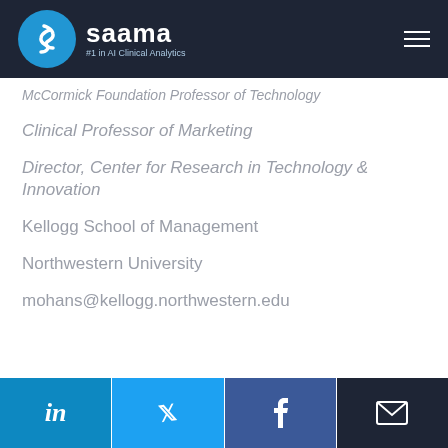saama #1 in AI Clinical Analytics
McCormick Foundation Professor of Technology
Clinical Professor of Marketing
Director, Center for Research in Technology & Innovation
Kellogg School of Management
Northwestern University
mohans@kellogg.northwestern.edu
LinkedIn | Twitter | Facebook | Email